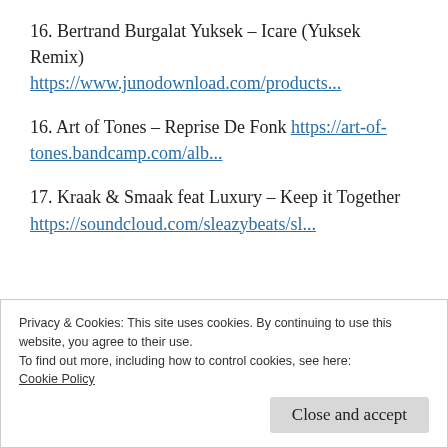16. Bertrand Burgalat Yuksek – Icare (Yuksek Remix)
https://www.junodownload.com/products...
16. Art of Tones – Reprise De Fonk https://art-of-tones.bandcamp.com/alb...
17. Kraak & Smaak feat Luxury – Keep it Together
https://soundcloud.com/sleazybeats/sl...
Privacy & Cookies: This site uses cookies. By continuing to use this website, you agree to their use.
To find out more, including how to control cookies, see here:
Cookie Policy
Close and accept